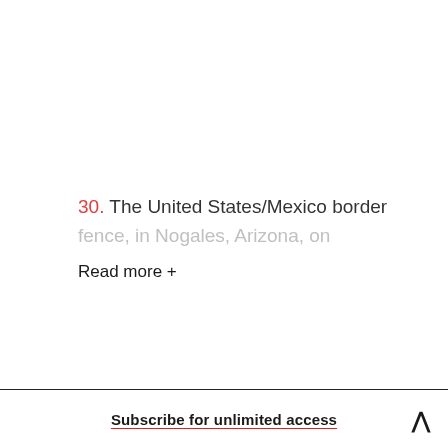30. The United States/Mexico border fence, in Nogales, Arizona, on
Read more +
Subscribe for unlimited access